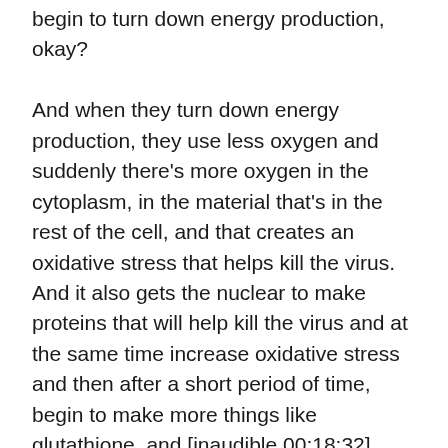begin to turn down energy production, okay?

And when they turn down energy production, they use less oxygen and suddenly there's more oxygen in the cytoplasm, in the material that's in the rest of the cell, and that creates an oxidative stress that helps kill the virus. And it also gets the nuclear to make proteins that will help kill the virus and at the same time increase oxidative stress and then after a short period of time, begin to make more things like glutathione, and [inaudible 00:18:32] which will begin to reduce the oxidative stress. You see, this cycle, there's a cycle in health. It's not linear. It's a circle. Okay? You get … your body gets stressed and then you respond. Like a lot of the